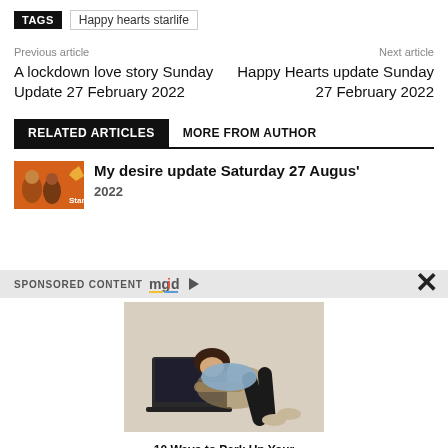TAGS   Happy hearts starlife
Previous article
A lockdown love story Sunday Update 27 February 2022
Next article
Happy Hearts update Sunday 27 February 2022
RELATED ARTICLES   MORE FROM AUTHOR
My desire update Saturday 27 August 2022
SPONSORED CONTENT mgid
[Figure (photo): Person lying on floor using a laptop computer, viewed from above]
10 Ways to Perk Up Your Relationship